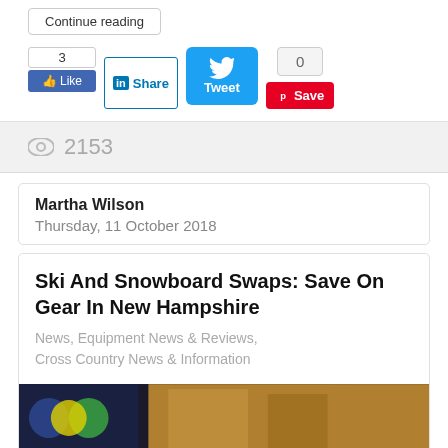Continue reading
[Figure (screenshot): Social sharing buttons: Facebook Like (3), LinkedIn Share, Twitter Tweet, tweet count (0), Pinterest Save]
2153 views
Martha Wilson
Thursday, 11 October 2018
Ski And Snowboard Swaps: Save On Gear In New Hampshire
News, Equipment News & Reviews, Cross Country News & Information
[Figure (photo): Photo thumbnail of ski/snowboard gear]